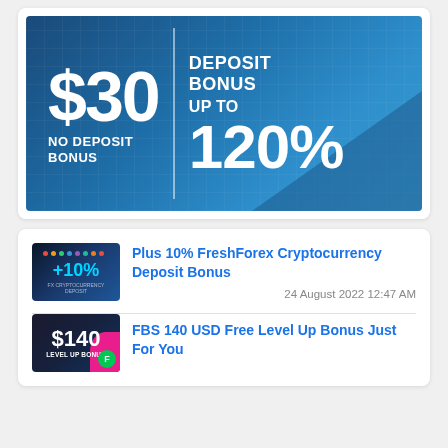[Figure (illustration): Dark blue promotional banner showing '$30 NO DEPOSIT BONUS' on the left with a vertical divider line, and 'DEPOSIT BONUS UP TO 120%' on the right, on a blue grid-pattern background.]
[Figure (illustration): Dark blue thumbnail with dots at top and '+10%' text for FreshForex Cryptocurrency Deposit Bonus]
Plus 10% FreshForex Cryptocurrency Deposit Bonus
24 August 2022 12:47 AM
[Figure (illustration): Dark blue thumbnail with '$140 LEVEL UP BONUS' text in white, pink accent shape, and green circle on the right]
FBS 140 USD Free Level Up Bonus Just For You